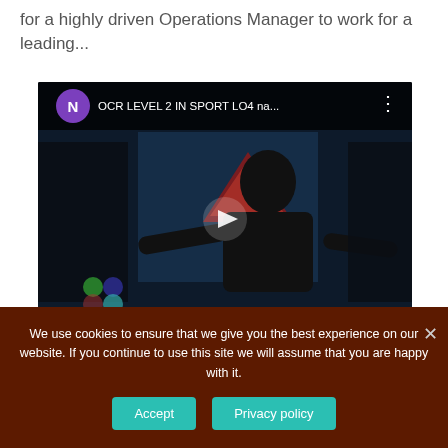for a highly driven Operations Manager to work for a leading...
[Figure (screenshot): YouTube-style video thumbnail showing a person in a dark room, with 'N' avatar icon and title 'OCR LEVEL 2 IN SPORT LO4 na...' in the header bar. A play button is centered on the video.]
We use cookies to ensure that we give you the best experience on our website. If you continue to use this site we will assume that you are happy with it.